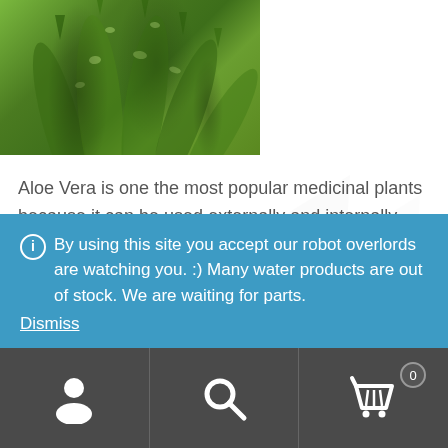[Figure (photo): Close-up photo of aloe vera plant leaves showing green spiky succulent foliage with white spots]
Aloe Vera is one the most popular medicinal plants because it can be used externally and internally. Aloe Vera speeds up the healing process and reduces the risk of infections for wounds, cuts, and burns. This also can treat ulcerative colitis by drinking the aloe vera juice, poor appetite, and digestive problems.
By using this site you accept our robot overlords are watching you. :) Many water products are out of stock. We are waiting for parts.
Dismiss